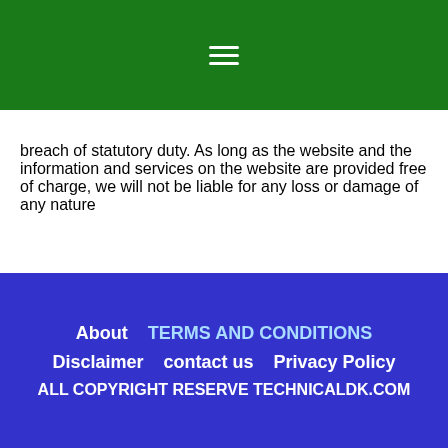≡
breach of statutory duty. As long as the website and the information and services on the website are provided free of charge, we will not be liable for any loss or damage of any nature
About | TERMS AND CONDITIONS | Disclaimer | contact us | Privacy Policy | ALL COPYRIGHT RESERVE TECHNICALDK.COM